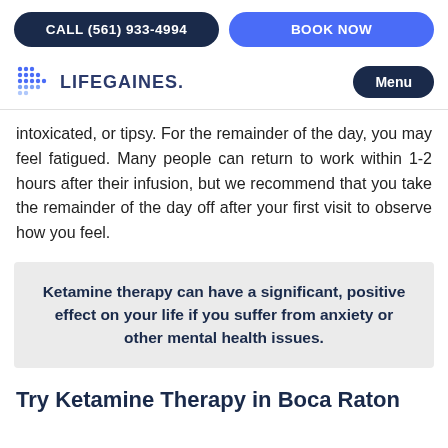CALL (561) 933-4994 | BOOK NOW
[Figure (logo): LifeGaines logo with blue dot grid and 'LIFEGAINES.' text, plus Menu button]
intoxicated, or tipsy. For the remainder of the day, you may feel fatigued. Many people can return to work within 1-2 hours after their infusion, but we recommend that you take the remainder of the day off after your first visit to observe how you feel.
Ketamine therapy can have a significant, positive effect on your life if you suffer from anxiety or other mental health issues.
Try Ketamine Therapy in Boca Raton